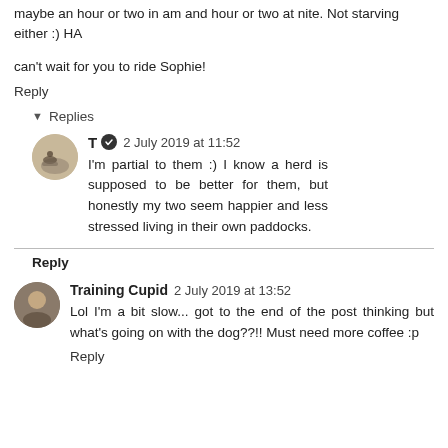maybe an hour or two in am and hour or two at nite. Not starving either :) HA
can't wait for you to ride Sophie!
Reply
Replies
T  2 July 2019 at 11:52
I'm partial to them :) I know a herd is supposed to be better for them, but honestly my two seem happier and less stressed living in their own paddocks.
Reply
Training Cupid 2 July 2019 at 13:52
Lol I'm a bit slow... got to the end of the post thinking but what's going on with the dog??!! Must need more coffee :p
Reply